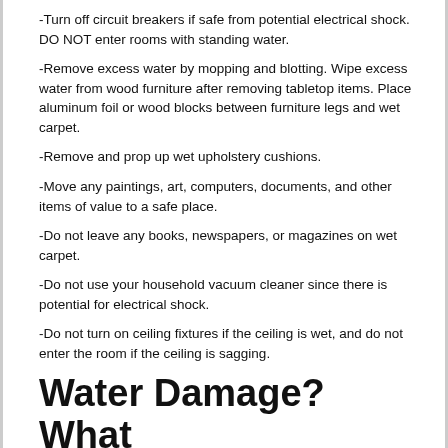-Turn off circuit breakers if safe from potential electrical shock. DO NOT enter rooms with standing water.
-Remove excess water by mopping and blotting. Wipe excess water from wood furniture after removing tabletop items. Place aluminum foil or wood blocks between furniture legs and wet carpet.
-Remove and prop up wet upholstery cushions.
-Move any paintings, art, computers, documents, and other items of value to a safe place.
-Do not leave any books, newspapers, or magazines on wet carpet.
-Do not use your household vacuum cleaner since there is potential for electrical shock.
-Do not turn on ceiling fixtures if the ceiling is wet, and do not enter the room if the ceiling is sagging.
Water Damage? What to do